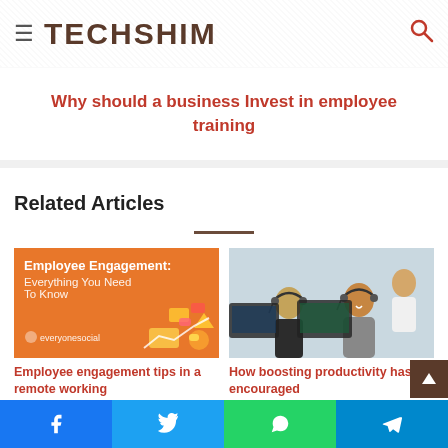TECHSHIM
Why should a business Invest in employee training
Related Articles
[Figure (screenshot): Orange infographic card with text 'Employee Engagement: Everything You Need To Know' with everyonesocial branding]
[Figure (photo): Photo of women wearing headsets working at computer screens in an office/call center]
Employee engagement tips in a remote working
How boosting productivity has encouraged